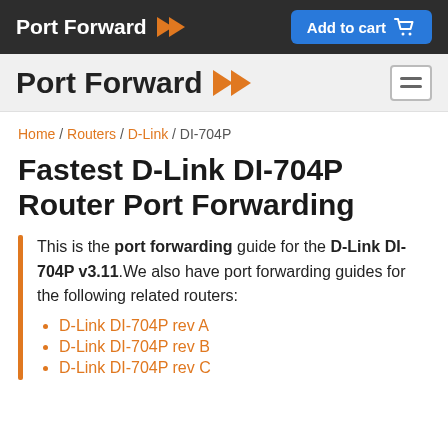Port Forward | Add to cart
Port Forward
Home / Routers / D-Link / DI-704P
Fastest D-Link DI-704P Router Port Forwarding
This is the port forwarding guide for the D-Link DI-704P v3.11.We also have port forwarding guides for the following related routers:
D-Link DI-704P rev A
D-Link DI-704P rev B
D-Link DI-704P rev C